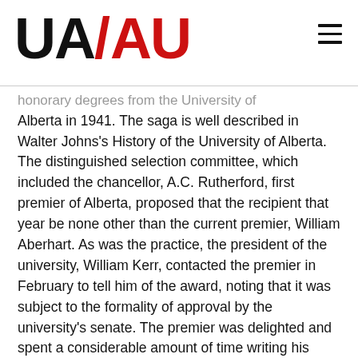UA/AU logo and navigation
honorary degrees from the University of Alberta in 1941. The saga is well described in Walter Johns's History of the University of Alberta. The distinguished selection committee, which included the chancellor, A.C. Rutherford, first premier of Alberta, proposed that the recipient that year be none other than the current premier, William Aberhart. As was the practice, the president of the university, William Kerr, contacted the premier in February to tell him of the award, noting that it was subject to the formality of approval by the university's senate. The premier was delighted and spent a considerable amount of time writing his convocation speech.
In those days, honorary degrees were officially confirmed the week before convocation by the senate following its annual dinner, and until then